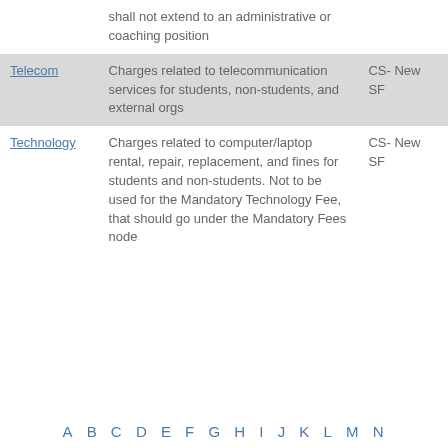|  | shall not extend to an administrative or coaching position |  |
| Telecom | Charges related to telecommunication services for students, non-students, and external orgs | CS- New SF |
| Technology | Charges related to computer/laptop rental, repair, replacement, and fines for students and non-students. Not to be used for the Mandatory Technology Fee, that should go under the Mandatory Fees node | CS- New SF |
A B C D E F G H I J K L M N